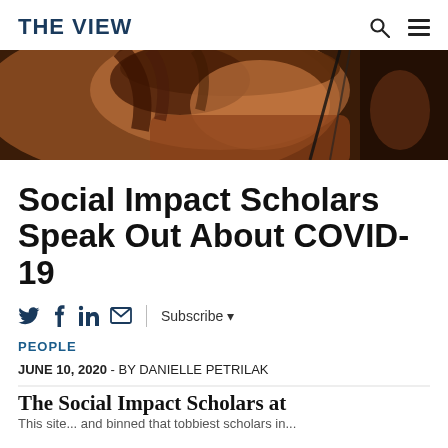THE VIEW
[Figure (photo): Close-up photo of a person with curly hair and a microphone or musical instrument in dark/concert setting]
Social Impact Scholars Speak Out About COVID-19
Twitter, Facebook, LinkedIn, Email icons | Subscribe
PEOPLE
JUNE 10, 2020 - BY DANIELLE PETRILAK
The Social Impact Scholars at
This site... and binned that tobbiest scholars in...